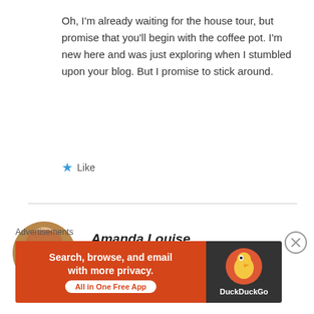Oh, I'm already waiting for the house tour, but promise that you'll begin with the coffee pot. I'm new here and was just exploring when I stumbled upon your blog. But I promise to stick around.
★ Like
Amanda Louise
JULY 4, 2014 AT 9:17 AM
Advertisements
[Figure (infographic): DuckDuckGo advertisement banner: orange left side with text 'Search, browse, and email with more privacy. All in One Free App' and dark right side with DuckDuckGo duck logo and brand name.]